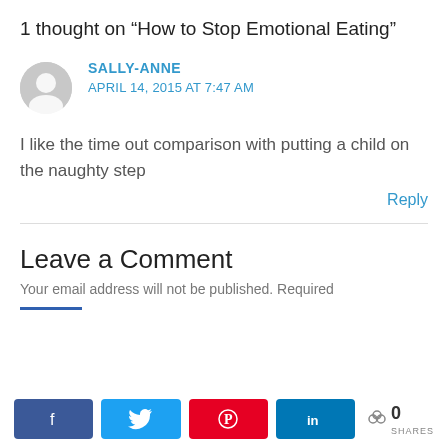1 thought on “How to Stop Emotional Eating”
SALLY-ANNE
APRIL 14, 2015 AT 7:47 AM
I like the time out comparison with putting a child on the naughty step
Reply
Leave a Comment
Your email address will not be published. Required
[Figure (infographic): Social share bar with Facebook, Twitter, Pinterest, LinkedIn buttons and a share count of 0]